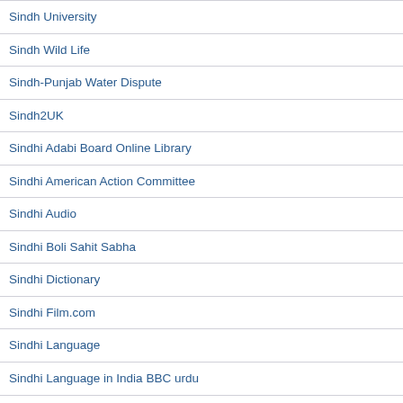Sindh University
Sindh Wild Life
Sindh-Punjab Water Dispute
Sindh2UK
Sindhi Adabi Board Online Library
Sindhi American Action Committee
Sindhi Audio
Sindhi Boli Sahit Sabha
Sindhi Dictionary
Sindhi Film.com
Sindhi Language
Sindhi Language in India BBC urdu
Sindhi Language Resources